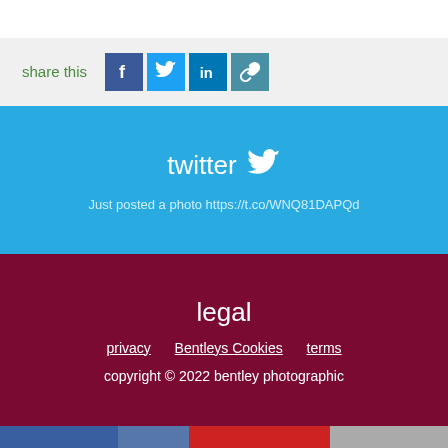share this
[Figure (infographic): Social share buttons: Facebook, Twitter, LinkedIn, and link icons]
twitter - Just posted a photo https://t.co/WNQ81DAPQd
legal
privacy   Bentleys Cookies   terms
copyright © 2022 bentley photographic